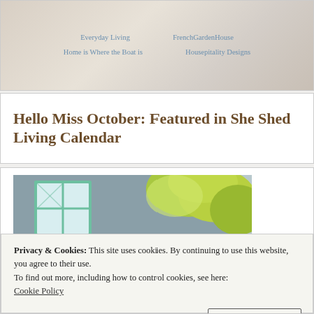[Figure (screenshot): A decorative blog navigation image with links: 'Everyday Living', 'FrenchGardenHouse', 'Home is Where the Boat is', 'Housepitality Designs' overlaid on a soft background]
Hello Miss October: Featured in She Shed Living Calendar
[Figure (photo): Exterior photo of a garden shed or cottage with blue-grey siding, a mint green window frame with decorative glazing, and yellow-green foliage in the background]
Privacy & Cookies: This site uses cookies. By continuing to use this website, you agree to their use.
To find out more, including how to control cookies, see here:
Cookie Policy